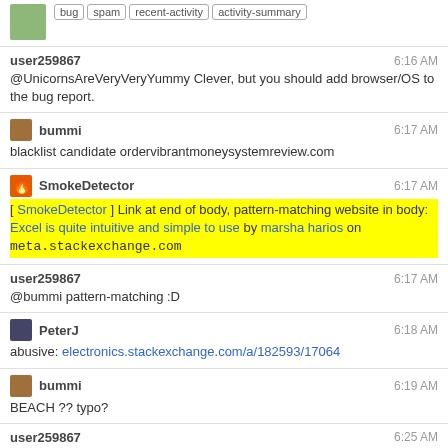[partial top] bug spam recent-activity activity-summary
user259867 6:16 AM
@UnicornsAreVeryVeryYummy Clever, but you should add browser/OS to the bug report.
bummi 6:17 AM
blacklist candidate ordervibrantmoneysystemreview.com
SmokeDetector 6:17 AM
[ SmokeDetector ] Link at end of body, pattern-matching website in body: Excel is quite intuitive and simple to use by marsha harios on meta.stackexchange.com
user259867 6:17 AM
@bummi pattern-matching :D
PeterJ 6:18 AM
abusive: electronics.stackexchange.com/a/182593/17064
bummi 6:19 AM
BEACH ?? typo?
user259867 6:25 AM
Ruby Roy is kind of a celebrity here: chat.meta.stackexchange.com/...
Unicorns Are Very Very Yummy 6:26 AM
Lol